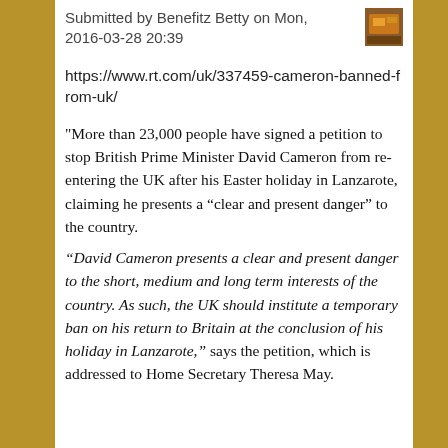Submitted by Benefitz Betty on Mon, 2016-03-28 20:39
https://www.rt.com/uk/337459-cameron-banned-from-uk/
"More than 23,000 people have signed a petition to stop British Prime Minister David Cameron from re-entering the UK after his Easter holiday in Lanzarote, claiming he presents a “clear and present danger” to the country.
“David Cameron presents a clear and present danger to the short, medium and long term interests of the country. As such, the UK should institute a temporary ban on his return to Britain at the conclusion of his holiday in Lanzarote,” says the petition, which is addressed to Home Secretary Theresa May.